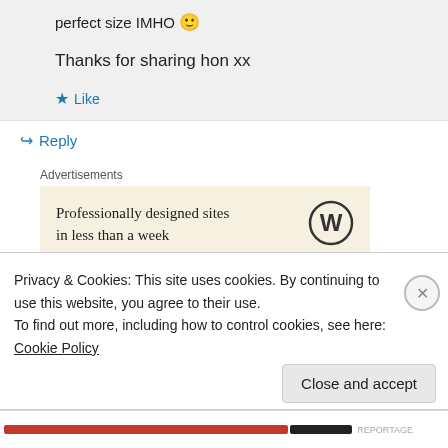perfect size IMHO 🙂
Thanks for sharing hon xx
★ Like
↪ Reply
Advertisements
[Figure (infographic): WordPress advertisement banner: 'Professionally designed sites in less than a week' with WordPress logo circle]
C.B. Wentworth on May 3, 2012 at 5:18 am
Privacy & Cookies: This site uses cookies. By continuing to use this website, you agree to their use.
To find out more, including how to control cookies, see here: Cookie Policy
Close and accept